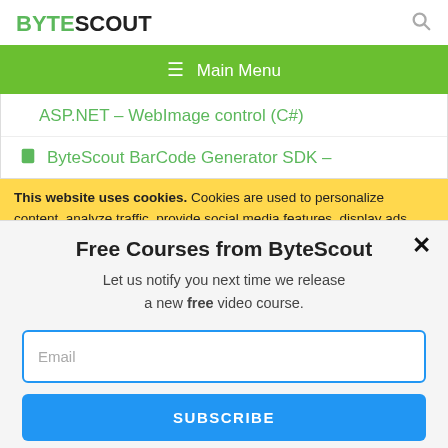BYTESCOUT
≡  Main Menu
ASP.NET – WebImage control (C#)
ByteScout BarCode Generator SDK –
This website uses cookies. Cookies are used to personalize content, analyze traffic, provide social media features, display ads. We also share
Free Courses from ByteScout
Let us notify you next time we release a new free video course.
Email
SUBSCRIBE